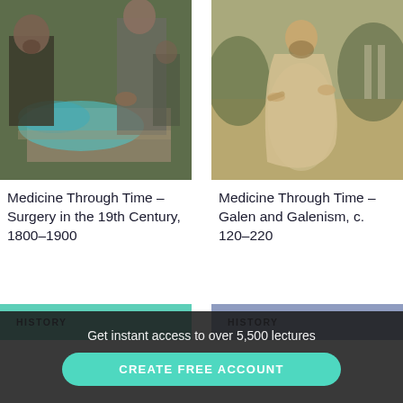[Figure (illustration): Historical colorized illustration of a surgical scene in the 19th century, showing doctors performing surgery on a patient]
[Figure (illustration): Historical illustration of Galen in robes, a classical figure in ancient Greek dress]
Medicine Through Time – Surgery in the 19th Century, 1800–1900
Medicine Through Time – Galen and Galenism, c. 120–220
HISTORY
HISTORY
Get instant access to over 5,500 lectures
CREATE FREE ACCOUNT